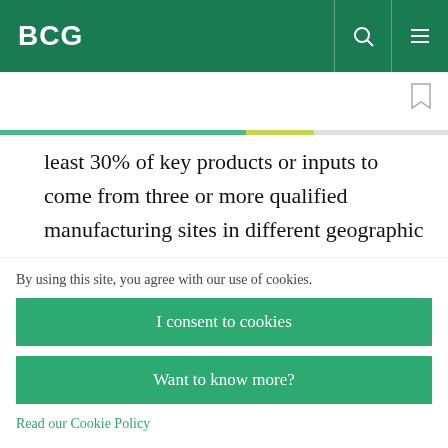BCG
least 30% of key products or inputs to come from three or more qualified manufacturing sites in different geographic areas and would like to keep its capacity utilization under 85%.
5. Pressure test design choices across the
By using this site, you agree with our use of cookies.
I consent to cookies
Want to know more?
Read our Cookie Policy